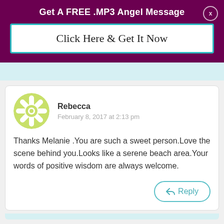Get A FREE .MP3 Angel Message
Click Here & Get It Now
Rebecca
February 8, 2017 at 2:13 pm
Thanks Melanie .You are such a sweet person.Love the scene behind you.Looks like a serene beach area.Your words of positive wisdom are always welcome.
Reply